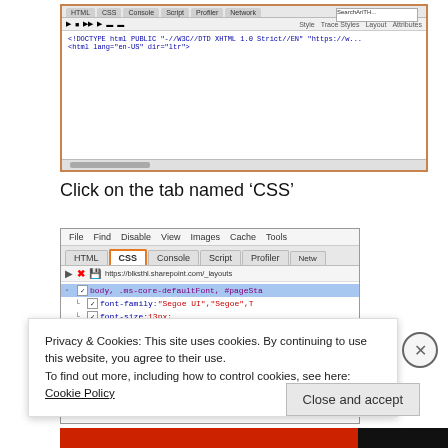[Figure (screenshot): Firebug developer tool screenshot showing HTML/CSS tabs and code panel at top of page]
Click on the tab named ‘CSS’
[Figure (screenshot): Firebug CSS panel screenshot showing File, Find, Disable, View, Images, Cache, Tools menu; HTML, CSS (highlighted with orange border), Console, Script, Profiler, Netw tabs; URL bar showing https://blksthl.sharepoint.com/_layouts; CSS code showing body, .ms-core-defaultFont, #pageSta selector with font-family: "Segoe UI","Segoe",T and font-size: 13px; and body, .ms-core-defaultFont, .is-call]
Privacy & Cookies: This site uses cookies. By continuing to use this website, you agree to their use.
To find out more, including how to control cookies, see here: Cookie Policy